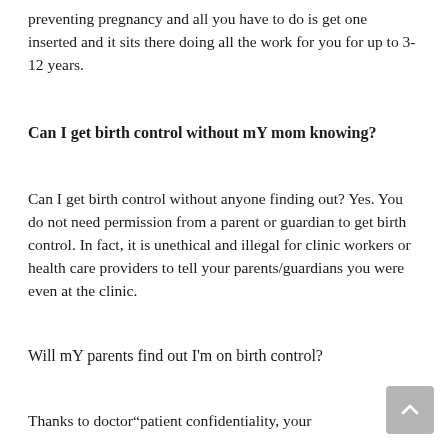preventing pregnancy and all you have to do is get one inserted and it sits there doing all the work for you for up to 3-12 years.
Can I get birth control without mY mom knowing?
Can I get birth control without anyone finding out? Yes. You do not need permission from a parent or guardian to get birth control. In fact, it is unethical and illegal for clinic workers or health care providers to tell your parents/guardians you were even at the clinic.
Will mY parents find out I'm on birth control?
Thanks to doctor“patient confidentiality, your